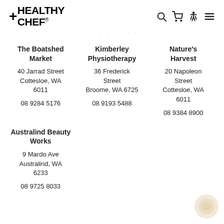+HEALTHY CHEF
· · · · · · · ·
The Boatshed Market
40 Jarrad Street Cottesloe, WA 6011
08 9284 5176
Kimberley Physiotherapy
36 Frederick Street Broome, WA 6725
08 9193 5488
Nature's Harvest
20 Napoleon Street Cottesloe, WA 6011
08 9384 8900
Australind Beauty Works
9 Mardo Ave Australind, WA 6233
08 9725 8033